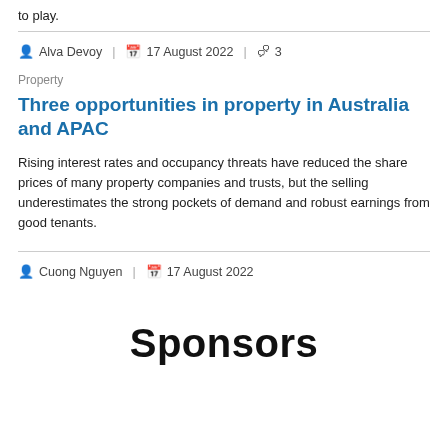to play.
Alva Devoy | 17 August 2022 | 3
Property
Three opportunities in property in Australia and APAC
Rising interest rates and occupancy threats have reduced the share prices of many property companies and trusts, but the selling underestimates the strong pockets of demand and robust earnings from good tenants.
Cuong Nguyen | 17 August 2022
Sponsors